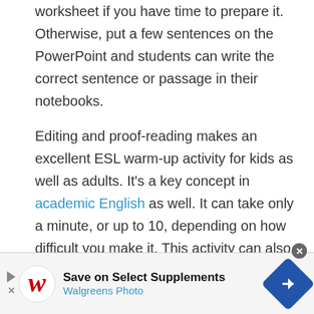worksheet if you have time to prepare it. Otherwise, put a few sentences on the PowerPoint and students can write the correct sentence or passage in their notebooks.
Editing and proof-reading makes an excellent ESL warm-up activity for kids as well as adults. It's a key concept in academic English as well. It can take only a minute, or up to 10, depending on how difficult you make it. This activity can also reinforce a huge number of concepts—spelling,
[Figure (other): Walgreens advertisement banner: Save on Select Supplements, Walgreens Photo, with Walgreens W logo and navigation arrow icon]